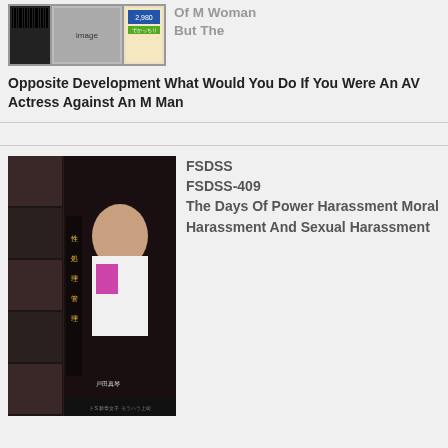[Figure (photo): Product/DVD cover image thumbnail at top left]
Of M Woman But The Opposite Development What Would You Do If You Were An AV Actress Against An M Man
[Figure (photo): FSDSS-409 DVD cover showing a woman in office attire with Japanese text]
FSDSS FSDSS-409 The Days Of Power Harassment Moral Harassment And Sexual Harassment